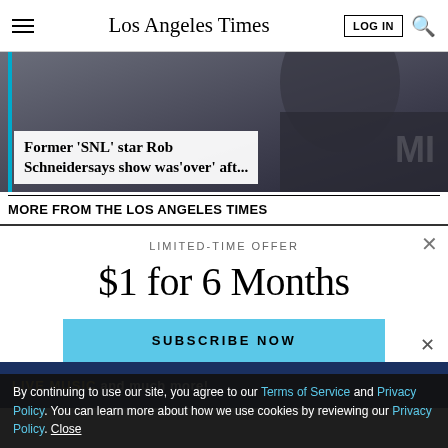Los Angeles Times — LOG IN [search icon]
[Figure (photo): Partial photo of a person in dark clothing, with a headline overlay caption box reading: Former 'SNL' star Rob Schneidersays show was 'over' aft...]
Former 'SNL' star Rob Schneidersays show was'over' aft...
MORE FROM THE LOS ANGELES TIMES
LIMITED-TIME OFFER
$1 for 6 Months
SUBSCRIBE NOW
By continuing to use our site, you agree to our Terms of Service and Privacy Policy. You can learn more about how we use cookies by reviewing our Privacy Policy. Close